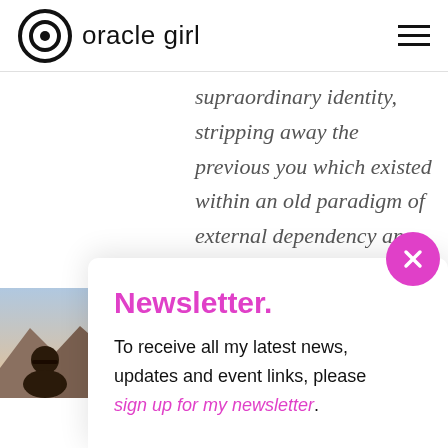oracle girl
supraordinary identity, stripping away the previous you which existed within an old paradigm of external dependency an
Newsletter.
To receive all my latest news, updates and event links, please sign up for my newsletter.
[Figure (photo): Small thumbnail photo of a person outdoors with mountains/sky background]
of your own inner being